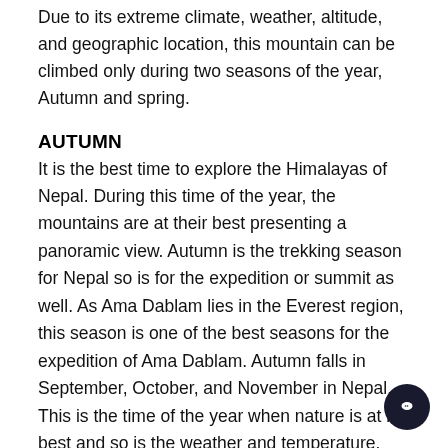Due to its extreme climate, weather, altitude, and geographic location, this mountain can be climbed only during two seasons of the year, Autumn and spring.
AUTUMN
It is the best time to explore the Himalayas of Nepal. During this time of the year, the mountains are at their best presenting a panoramic view. Autumn is the trekking season for Nepal so is for the expedition or summit as well. As Ama Dablam lies in the Everest region, this season is one of the best seasons for the expedition of Ama Dablam. Autumn falls in September, October, and November in Nepal. This is the time of the year when nature is at its best and so is the weather and temperature. The weather around Autumn is much more favorable for expeditions than any other season. However, it is a fact that the weather in the Himalayas is extreme and unpredictable. But Autumn brings out different kinds of joy and refreshment to the journey. The temperature becomes bearable for walking.